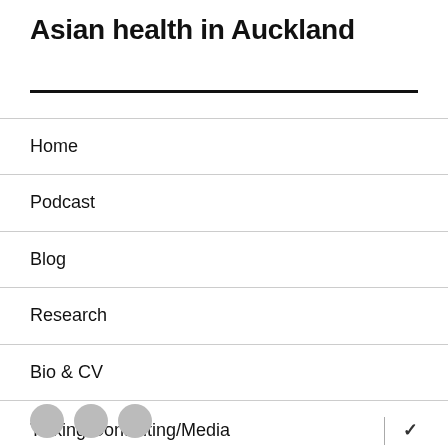Asian health in Auckland
Home
Podcast
Blog
Research
Bio & CV
Talking/Consulting/Media